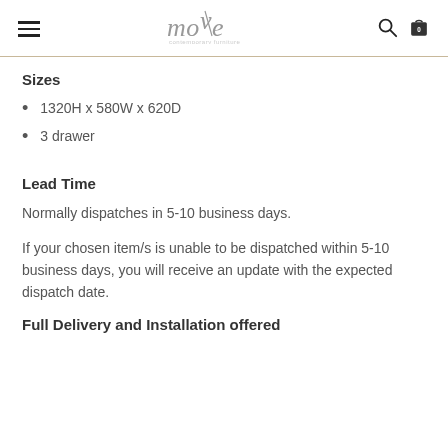move contemporary furniture
Sizes
1320H x 580W x 620D
3 drawer
Lead Time
Normally dispatches in 5-10 business days.
If your chosen item/s is unable to be dispatched within 5-10 business days, you will receive an update with the expected dispatch date.
Full Delivery and Installation offered